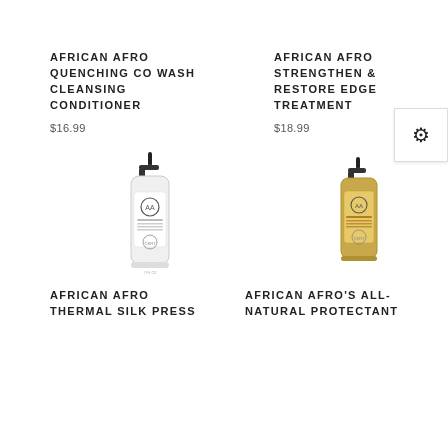AFRICAN AFRO QUENCHING CO WASH CLEANSING CONDITIONER
$16.99
AFRICAN AFRO STRENGTHEN & RESTORE EDGE TREATMENT
$18.99
[Figure (photo): White spray bottle with black pump top, African Afro brand label with circular logo]
[Figure (photo): Amber/gold spray bottle with black pump top, African Afro brand label with circular logo]
AFRICAN AFRO THERMAL SILK PRESS
AFRICAN AFRO'S ALL-NATURAL PROTECTANT